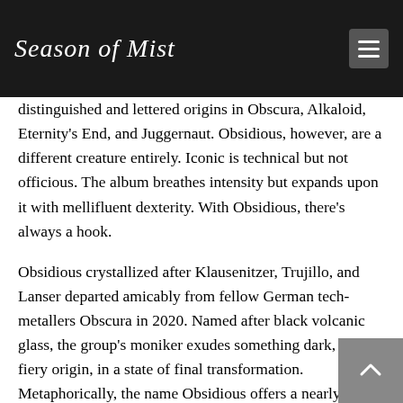Season of Mist
distinguished and lettered origins in Obscura, Alkaloid, Eternity’s End, and Juggernaut. Obsidious, however, are a different creature entirely. Iconic is technical but not officious. The album breathes intensity but expands upon it with mellifluent dexterity. With Obsidious, there’s always a hook.
Obsidious crystallized after Klausenitzer, Trujillo, and Lanser departed amicably from fellow German tech-metallers Obscura in 2020. Named after black volcanic glass, the group’s moniker exudes something dark, of fiery origin, in a state of final transformation. Metaphorically, the name Obsidious offers a nearly limitless platform for expression and advancement. However, it was only when the trio brought on newcomer Perera—whose growls and full-toned voice are first-rate—were the multi-national outfit officially codified. Interestingly enough, the newly-joined frontman